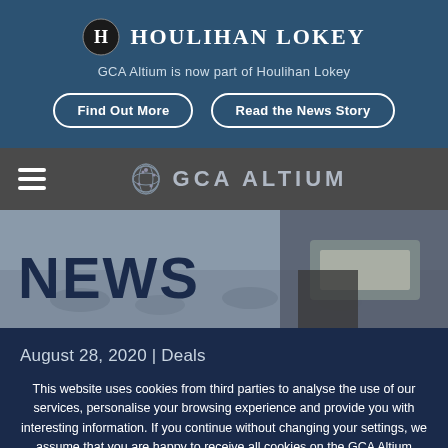[Figure (logo): Houlihan Lokey logo with circular H icon and serif uppercase text, on dark blue banner with subtitle 'GCA Altium is now part of Houlihan Lokey' and two buttons: 'Find Out More' and 'Read the News Story']
[Figure (logo): GCA Altium navigation bar with hamburger menu icon and GCA Altium globe logo on dark grey background]
[Figure (photo): News page hero image showing businessman reading newspaper with blurred city traffic background, with 'NEWS' text overlay in dark navy]
August 28, 2020 | Deals
This website uses cookies from third parties to analyse the use of our services, personalise your browsing experience and provide you with interesting information. If you continue without changing your settings, we assume that you are happy to receive all cookies on the GCA Altium website.
AGREE    CHANGE SETTINGS    LEARN MORE